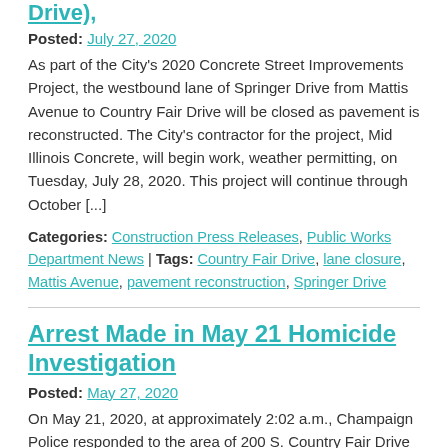Drive),
Posted: July 27, 2020
As part of the City's 2020 Concrete Street Improvements Project, the westbound lane of Springer Drive from Mattis Avenue to Country Fair Drive will be closed as pavement is reconstructed. The City's contractor for the project, Mid Illinois Concrete, will begin work, weather permitting, on Tuesday, July 28, 2020. This project will continue through October [...]
Categories: Construction Press Releases, Public Works Department News | Tags: Country Fair Drive, lane closure, Mattis Avenue, pavement reconstruction, Springer Drive
Arrest Made in May 21 Homicide Investigation
Posted: May 27, 2020
On May 21, 2020, at approximately 2:02 a.m., Champaign Police responded to the area of 200 S. Country Fair Drive for a reported shooting. Upon arrival, officers located a 25-